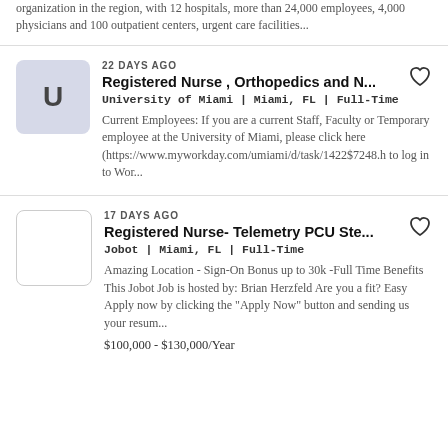organization in the region, with 12 hospitals, more than 24,000 employees, 4,000 physicians and 100 outpatient centers, urgent care facilities...
22 DAYS AGO
Registered Nurse , Orthopedics and N...
University of Miami | Miami, FL | Full-Time
Current Employees: If you are a current Staff, Faculty or Temporary employee at the University of Miami, please click here (https://www.myworkday.com/umiami/d/task/1422$7248.h to log in to Wor...
17 DAYS AGO
Registered Nurse- Telemetry PCU Ste...
Jobot | Miami, FL | Full-Time
Amazing Location - Sign-On Bonus up to 30k -Full Time Benefits This Jobot Job is hosted by: Brian Herzfeld Are you a fit? Easy Apply now by clicking the "Apply Now" button and sending us your resum...
$100,000 - $130,000/Year